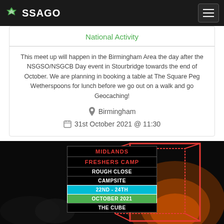SSAGO
National Activity
This meet up will happen in the Birmingham Area the day after the NSGSO/NSGCB Day event in Stourbridge towards the end of October. We are planning in booking a table at The Square Peg Wetherspoons for lunch before we go out on a walk and go Geocaching!
📍 Birmingham
📅 31st October 2021 @ 11:30
[Figure (photo): Campfire scene at night with a promotional sign for Midlands Freshers Camp at Rough Close Campsite, 22nd-24th October 2021, The Cube]